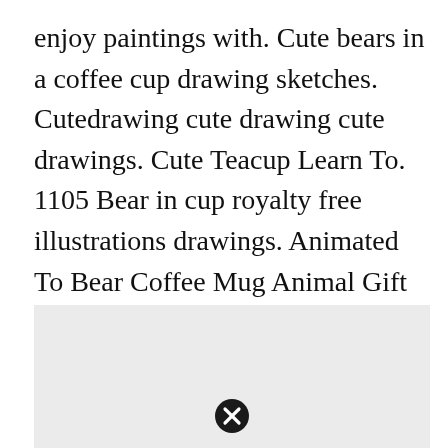enjoy paintings with. Cute bears in a coffee cup drawing sketches. Cutedrawing cute drawing cute drawings. Cute Teacup Learn To. 1105 Bear in cup royalty free illustrations drawings. Animated To Bear Coffee Mug Animal Gift Ideas Animals And Pets Diy Customize Mugs Coffee Mug Drawing Custom Mugs.
[Figure (other): Light gray placeholder image area with a close/cancel button icon (circle with X) centered at the bottom]